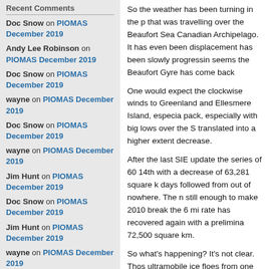Recent Comments
Doc Snow on PIOMAS December 2019
Andy Lee Robinson on PIOMAS December 2019
Doc Snow on PIOMAS December 2019
wayne on PIOMAS December 2019
Doc Snow on PIOMAS December 2019
wayne on PIOMAS December 2019
Jim Hunt on PIOMAS December 2019
Doc Snow on PIOMAS December 2019
Jim Hunt on PIOMAS December 2019
wayne on PIOMAS December 2019
Recent Posts
PIOMAS December 2019
PIOMAS November 2019
So the weather has been turning in the p... that was travelling over the Beaufort Sea... Canadian Archipelago. It has even been... displacement has been slowly progressin... seems the Beaufort Gyre has come back...
One would expect the clockwise winds to... Greenland and Ellesmere Island, especia... pack, especially with big lows over the S... translated into a higher extent decrease.
After the last SIE update the series of 60... 14th with a decrease of 63,281 square k... days followed from out of nowhere. The n... still enough to make 2010 break the 6 mi... rate has recovered again with a prelimina... 72,500 square km.
So what's happening? It's not clear. Thos... ultramobile ice floes from one side to ano... at the Fram Strait, thus compensating the... Sea. Perhaps patterns are still settling (s... on decrease will increasingly be felt.
There's nothing to do for it but wait some...